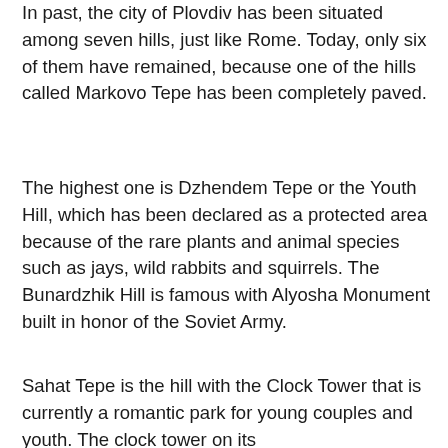In past, the city of Plovdiv has been situated among seven hills, just like Rome. Today, only six of them have remained, because one of the hills called Markovo Tepe has been completely paved.
The highest one is Dzhendem Tepe or the Youth Hill, which has been declared as a protected area because of the rare plants and animal species such as jays, wild rabbits and squirrels. The Bunardzhik Hill is famous with Alyosha Monument built in honor of the Soviet Army.
Sahat Tepe is the hill with the Clock Tower that is currently a romantic park for young couples and youth. The clock tower on its